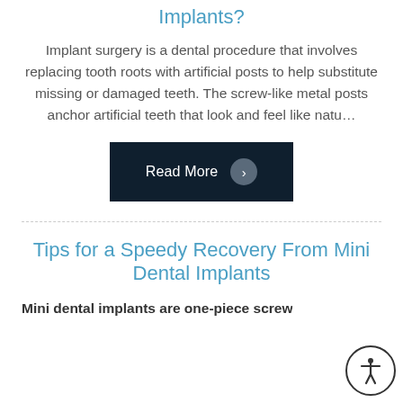Implants?
Implant surgery is a dental procedure that involves replacing tooth roots with artificial posts to help substitute missing or damaged teeth. The screw-like metal posts anchor artificial teeth that look and feel like natu…
Read More ›
Tips for a Speedy Recovery From Mini Dental Implants
Mini dental implants are one-piece screws